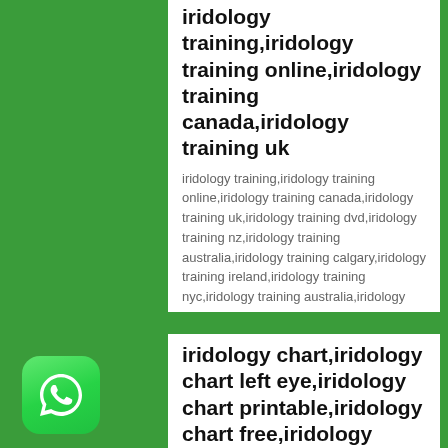iridology training,iridology training online,iridology training canada,iridology training uk
iridology training,iridology training online,iridology training canada,iridology training uk,iridology training dvd,iridology training nz,iridology training australia,iridology training calgary,iridology training ireland,iridology training nyc,iridology training australia,iridology courses australia,iridology courses alberta,iridology courses adelaide,iridology courses auckland,iridology study australia,iridology training south africa,study iridology adelaide,john andrews iridology training,iridology …
iridology chart,iridology chart left eye,iridology chart printable,iridology chart free,iridology chart right eye,iridology chart how to read,
canine iridology chart,chinese iridology chart,iridology chart diagnosis,iridology chart download,iridology charts download free,iridology diagnosis chart pdf,iridology chart for dogs,iridology eye chart free download,free iridology chart
[Figure (logo): WhatsApp logo button — green rounded square with white phone handset icon]